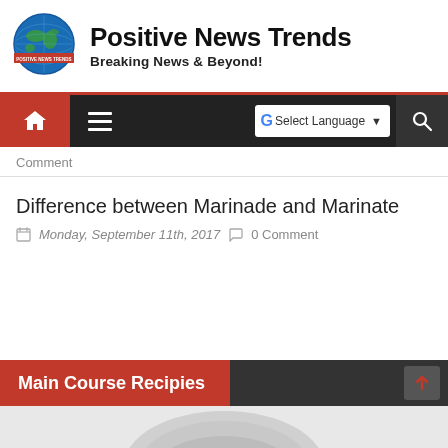Positive News Trends — Breaking News & Beyond!
[Figure (logo): Positive News Trends globe logo with world map and red banner]
Comment
Difference between Marinade and Marinate
Monday, September 11th, 2017   0 Comment
Main Course Recipies
[Figure (photo): Partial view of a dish at bottom of page]